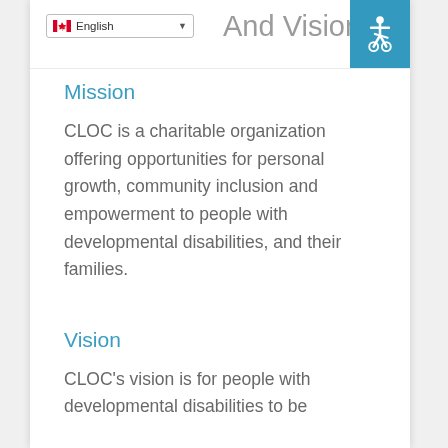Mission And Vision
Mission
CLOC is a charitable organization offering opportunities for personal growth, community inclusion and empowerment to people with developmental disabilities, and their families.
Vision
CLOC's vision is for people with developmental disabilities to be...